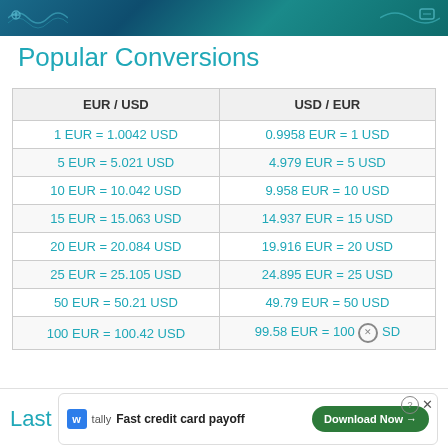[decorative header banner with teal wave pattern]
Popular Conversions
| EUR / USD | USD / EUR |
| --- | --- |
| 1 EUR = 1.0042 USD | 0.9958 EUR = 1 USD |
| 5 EUR = 5.021 USD | 4.979 EUR = 5 USD |
| 10 EUR = 10.042 USD | 9.958 EUR = 10 USD |
| 15 EUR = 15.063 USD | 14.937 EUR = 15 USD |
| 20 EUR = 20.084 USD | 19.916 EUR = 20 USD |
| 25 EUR = 25.105 USD | 24.895 EUR = 25 USD |
| 50 EUR = 50.21 USD | 49.79 EUR = 50 USD |
| 100 EUR = 100.42 USD | 99.58 EUR = 100 USD |
Last
Fast credit card payoff
Download Now →